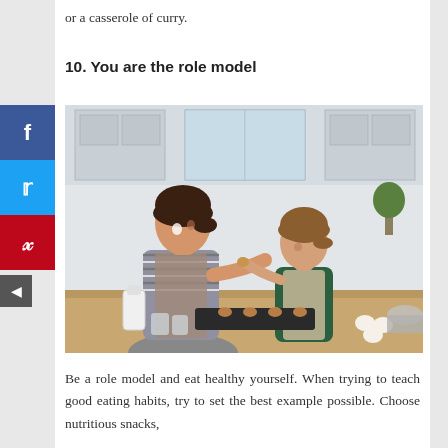or a casserole of curry.
10. You are the role model
[Figure (photo): A mother and young daughter cooking together in a bright white kitchen. The girl is feeding the mother a piece of food while both wear aprons. A baking tray with cookies, a milk bottle, eggs, and mixing bowls are on the counter.]
Be a role model and eat healthy yourself. When trying to teach good eating habits, try to set the best example possible. Choose nutritious snacks,